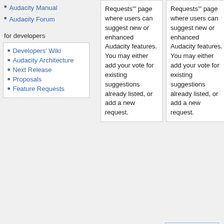Audacity Manual
Audacity Forum
for developers
Developers' Wiki
Audacity Architecture
Next Release
Proposals
Feature Requests
Requests'" page where users can suggest new or enhanced Audacity features. You may either add your vote for existing suggestions already listed, or add a new request.
Requests'" page where users can suggest new or enhanced Audacity features. You may either add your vote for existing suggestions already listed, or add a new request.
<span style="color:#C58917;font-weight:bold">If instead you have suggestions about the Wiki, please click</span> [[Talk:Audacity Wiki Home Page|here]]<span style="color:#C589 17;font-